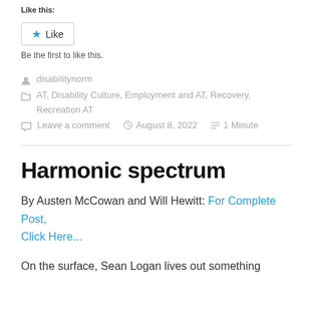Like this:
Like
Be the first to like this.
disabilitynorm
AT, Disability Culture, Employment and AT, Recovery, Recreation AT
Leave a comment   August 8, 2022   1 Minute
Harmonic spectrum
By Austen McCowan and Will Hewitt: For Complete Post, Click Here...
On the surface, Sean Logan lives out something